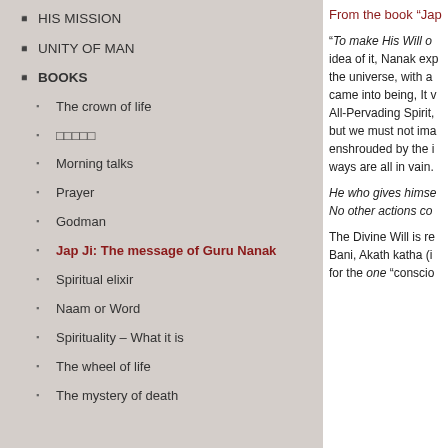HIS MISSION
UNITY OF MAN
BOOKS
The crown of life
□□□□□
Morning talks
Prayer
Godman
Jap Ji: The message of Guru Nanak
Spiritual elixir
Naam or Word
Spirituality – What it is
The wheel of life
The mystery of death
From the book "Jap
"To make His Will o idea of it, Nanak exp the universe, with a came into being, It v All-Pervading Spirit, but we must not ima enshrouded by the i ways are all in vain.
He who gives himse No other actions co
The Divine Will is re Bani, Akath katha (i for the one "conscio